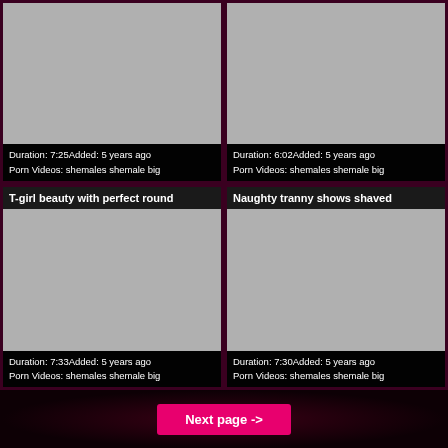[Figure (screenshot): Video thumbnail placeholder (gray rectangle), top-left card, no title shown]
Duration: 7:25Added: 5 years ago
Porn Videos: shemales shemale big
[Figure (screenshot): Video thumbnail placeholder (gray rectangle), top-right card, no title shown]
Duration: 6:02Added: 5 years ago
Porn Videos: shemales shemale big
T-girl beauty with perfect round
[Figure (screenshot): Video thumbnail placeholder (gray rectangle), bottom-left card]
Duration: 7:33Added: 5 years ago
Porn Videos: shemales shemale big
Naughty tranny shows shaved
[Figure (screenshot): Video thumbnail placeholder (gray rectangle), bottom-right card]
Duration: 7:30Added: 5 years ago
Porn Videos: shemales shemale big
Next page ->